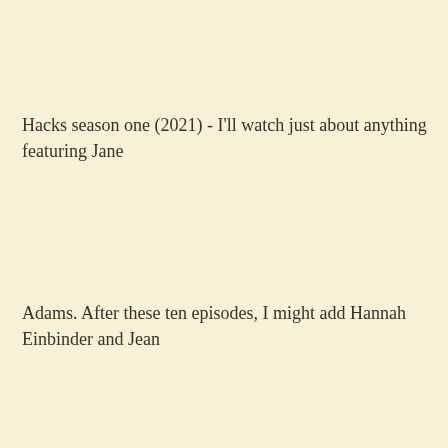Hacks season one (2021) - I'll watch just about anything featuring Jane Adams. After these ten episodes, I might add Hannah Einbinder and Jean Smart to that list.
Mildly enjoyed:
LA BESTIA DEBE MORIR, aka THE BEAST MUST DIE (1952) - Probably the first film version of the Nicholas Blake novel, this Argentine film was